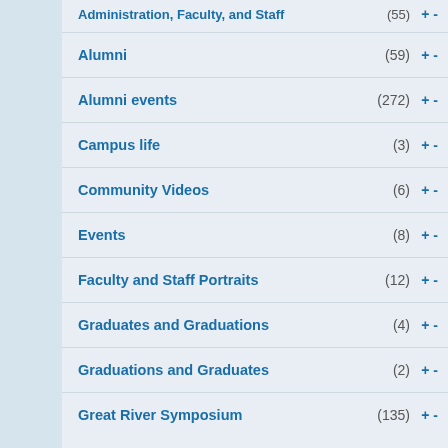Alumni (59)
Alumni events (272)
Campus life (3)
Community Videos (6)
Events (8)
Faculty and Staff Portraits (12)
Graduates and Graduations (4)
Graduations and Graduates (2)
Great River Symposium (135)
Show more
Subjects
Awards (3)
Benefactors (8)
Bloomington campus (2)
Clinics (2)
College of Acupuncture and Chinese Medicine (157)
College of Chiropractic (255)
College of Health and Wellness (2)
College presidents (47)
Events (633)
Faculty (84)
Show more